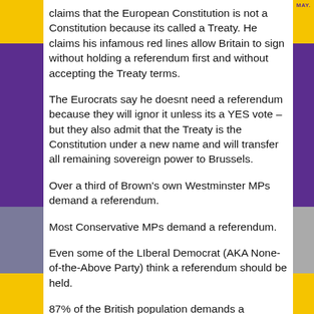claims that the European Constitution is not a Constitution because its called a Treaty. He claims his infamous red lines allow Britain to sign without holding a referendum first and without accepting the Treaty terms.
The Eurocrats say he doesnt need a referendum because they will ignor it unless its a YES vote – but they also admit that the Treaty is the Constitution under a new name and will transfer all remaining sovereign power to Brussels.
Over a third of Brown's own Westminster MPs demand a referendum.
Most Conservative MPs demand a referendum.
Even some of the LIberal Democrat (AKA None-of-the-Above Party) think a referendum should be held.
87% of the British population demands a referendum.